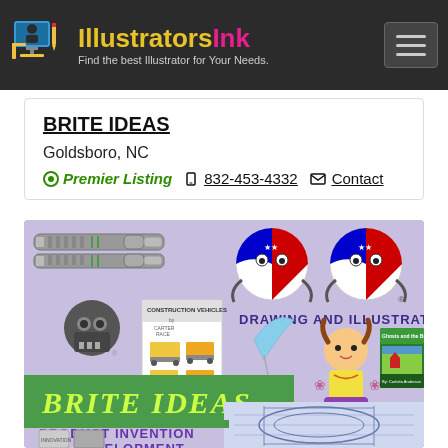IllustratorsInk - Find the best Illustrator for Your Needs.
BRITE IDEAS
Goldsboro, NC
Premier Listing  832-453-4332  Contact
[Figure (illustration): Brite Ideas portfolio image showing product invention drawings, construction vehicles book, drawing and illustration mascots, robot skull, a girl cartoon character, and a children's book cover 'Ghosts and the Butterflies by Carlotta Anderson'. Background is light purple/lavender. Text includes 'BRITE IDEAS', 'PRODUCT INVENTION AND DEVELOPMENT', 'DRAWING AND ILLUSTRATION'.]